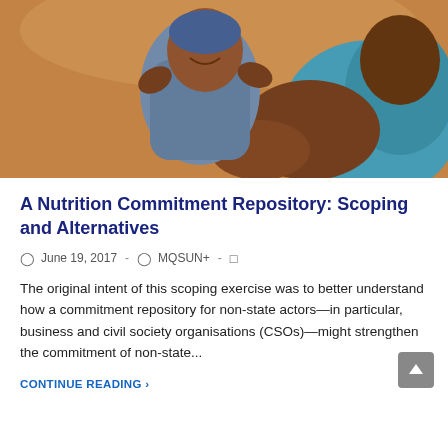[Figure (photo): Photo of a smiling baby/toddler in a blue outfit being held by a woman in a teal top, warm outdoor background]
A Nutrition Commitment Repository: Scoping and Alternatives
June 19, 2017 · MQSUN+ ·
The original intent of this scoping exercise was to better understand how a commitment repository for non-state actors—in particular, business and civil society organisations (CSOs)—might strengthen the commitment of non-state...
CONTINUE READING ›